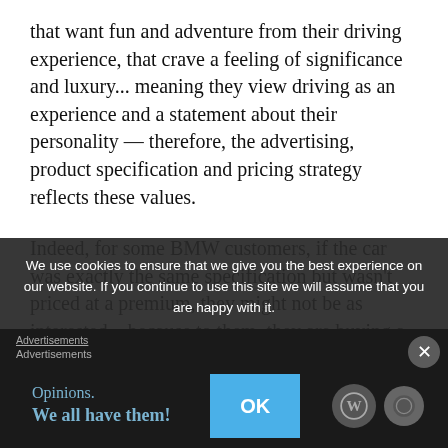that want fun and adventure from their driving experience, that crave a feeling of significance and luxury... meaning they view driving as an experience and a statement about their personality — therefore, the advertising, product specification and pricing strategy reflects these values.
Indeed, for some BMW customers, if the car was exactly the same specification but wasn't priced at a premium, they might not be as interested – because to them, they are buying a status symbol; which would be diminished if everyone could afford one.
We use cookies to ensure that we give you the best experience on our website. If you continue to use this site we will assume that you are happy with it.
Advertisements
[Figure (screenshot): Advertisement banner showing 'Opinions. We all have them!' in teal text on dark background, with a blue OK button and WordPress logo circles]